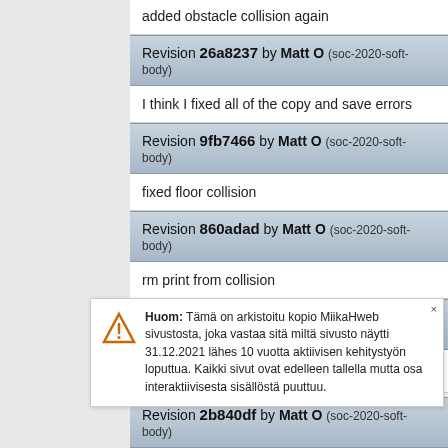added obstacle collision again
Revision 26a8237 by Matt O (soc-2020-soft-body)
I think I fixed all of the copy and save errors
Revision 9fb7466 by Matt O (soc-2020-soft-body)
fixed floor collision
Revision 860adad by Matt O (soc-2020-soft-body)
rm print from collision
Revision 3ea4ca7 by Matt O (soc-2020-soft-body)
Huom: Tämä on arkistoitu kopio MiikaHweb sivustosta, joka vastaa sitä miltä sivusto näytti 31.12.2021 lähes 10 vuotta aktiivisen kehitystyön loputtua. Kaikki sivut ovat edelleen tallella mutta osa interaktiivisesta sisällöstä puuttuu.
Revision 2b840df by Matt O (soc-2020-soft-body)